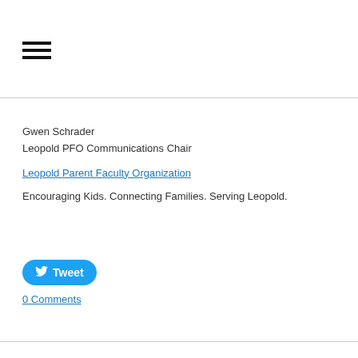[Figure (other): Hamburger menu icon — three horizontal black bars]
Gwen Schrader
Leopold PFO Communications Chair
Leopold Parent Faculty Organization
Encouraging Kids. Connecting Families. Serving Leopold.
[Figure (other): Tweet button — blue rounded button with Twitter bird icon and 'Tweet' label]
0 Comments